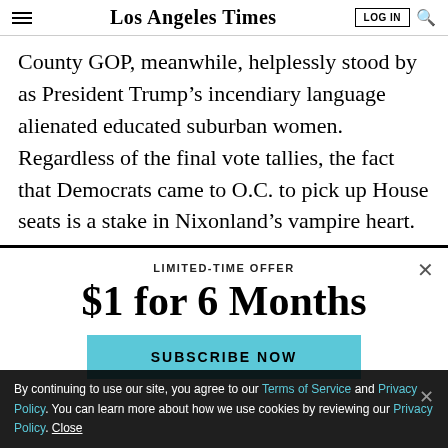Los Angeles Times | LOG IN
County GOP, meanwhile, helplessly stood by as President Trump’s incendiary language alienated educated suburban women. Regardless of the final vote tallies, the fact that Democrats came to O.C. to pick up House seats is a stake in Nixonland’s vampire heart.
LIMITED-TIME OFFER
$1 for 6 Months
SUBSCRIBE NOW
By continuing to use our site, you agree to our Terms of Service and Privacy Policy. You can learn more about how we use cookies by reviewing our Privacy Policy. Close